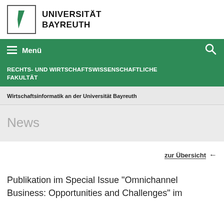[Figure (logo): Universität Bayreuth logo: a green diagonal stripe in a square box, with bold text UNIVERSITÄT BAYREUTH to the right]
Menü
RECHTS- UND WIRTSCHAFTSWISSENSCHAFTLICHE FAKULTÄT
Wirtschaftsinformatik an der Universität Bayreuth
News
zur Übersicht ←
Publikation im Special Issue "Omnichannel Business: Opportunities and Challenges" im